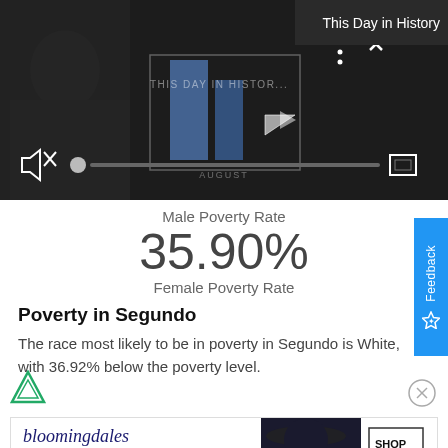[Figure (screenshot): Video player showing 'This Day in History' with play button, mute button, progress bar, and fullscreen icon on dark background. 'THIS DAY IN HISTOR...' text visible, 'AUGUST' label, and 'This Day in History' text in top right corner.]
Male Poverty Rate
35.90%
Female Poverty Rate
Poverty in Segundo
The race most likely to be in poverty in Segundo is White, with 36.92% below the poverty level.
[Figure (screenshot): Bloomingdale's advertisement: 'bloomingdales View Today's Top Deals!' with an image of a woman in a hat, and a 'SHOP NOW >' button.]